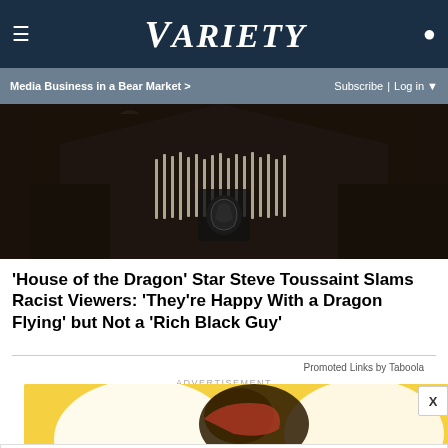VARIETY
Media Business in a Bear Market > | Subscribe | Log in
[Figure (photo): Close-up of a person in dark clothing with fringe/tassel decorative element showing a dragon emblem, dimly lit scene]
'House of the Dragon' Star Steve Toussaint Slams Racist Viewers: 'They're Happy With a Dragon Flying' but Not a 'Rich Black Guy'
Promoted Links by Taboola
ADVERTISEMENT
[Figure (photo): Advertisement banner with yellow background showing a baseball glove]
[Figure (infographic): Ad popup showing HC logo, Ashburn OPEN 8AM-8PM, 44110 Ashburn Shopping Plaza 190, with navigation arrow icon]